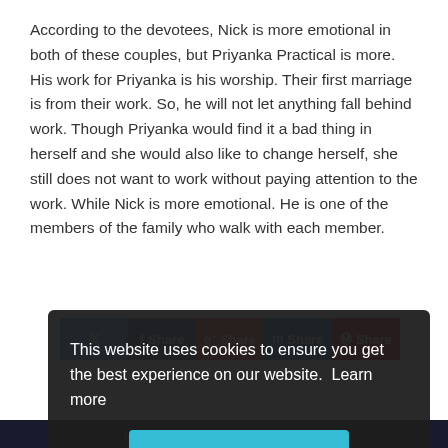According to the devotees, Nick is more emotional in both of these couples, but Priyanka Practical is more. His work for Priyanka is his worship. Their first marriage is from their work. So, he will not let anything fall behind work. Though Priyanka would find it a bad thing in herself and she would also like to change herself, she still does not want to work without paying attention to the work. While Nick is more emotional. He is one of the members of the family who walk with each member.
[Figure (screenshot): Social share buttons: Twitter, Facebook (Share), Google+ (Share), LinkedIn (Share), Pinterest (Share)]
[Figure (screenshot): Cookie consent overlay: 'This website uses cookies to ensure you get the best experience on our website. Learn more' with a 'Got it!' button]